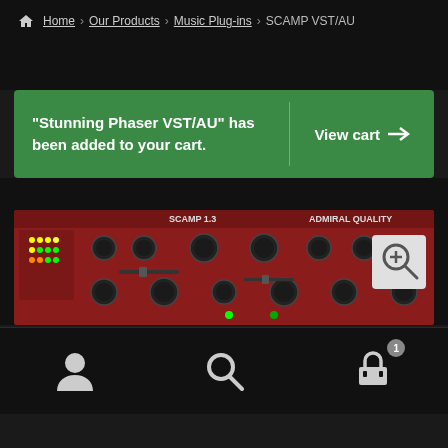Home > Our Products > Music Plug-ins > SCAMP VST/AU
"Stunning Phaser VST/AU" has been added to your cart.
View cart →
[Figure (photo): SCAMP 1.3 rack unit hardware synthesizer by Admiral Quality with red faceplate and multiple knobs, sliders, and LED indicators]
Navigation icons: user account, search, shopping cart (1 item)